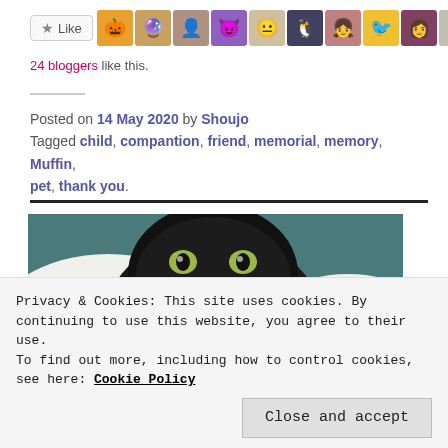[Figure (other): Like button with star icon followed by a row of 10 blogger avatar icons]
24 bloggers like this.
Posted on 14 May 2020 by Shoujo
Tagged child, compantion, friend, memorial, memory, Muffin, pet, thank you.
[Figure (photo): Close-up photo of a black cat wrapped in a white towel, looking up with yellow-green eyes]
Privacy & Cookies: This site uses cookies. By continuing to use this website, you agree to their use.
To find out more, including how to control cookies, see here: Cookie Policy
Close and accept